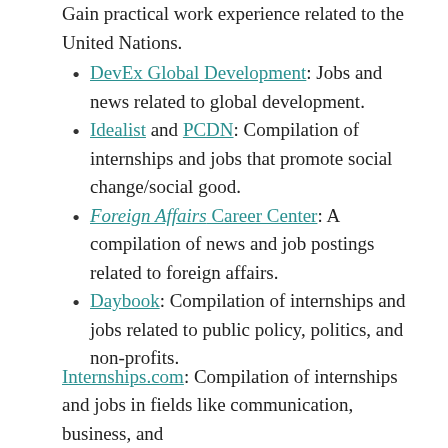Gain practical work experience related to the United Nations.
DevEx Global Development: Jobs and news related to global development.
Idealist and PCDN: Compilation of internships and jobs that promote social change/social good.
Foreign Affairs Career Center: A compilation of news and job postings related to foreign affairs.
Daybook: Compilation of internships and jobs related to public policy, politics, and non-profits.
Internships.com: Compilation of internships and jobs in fields like communication, business, and